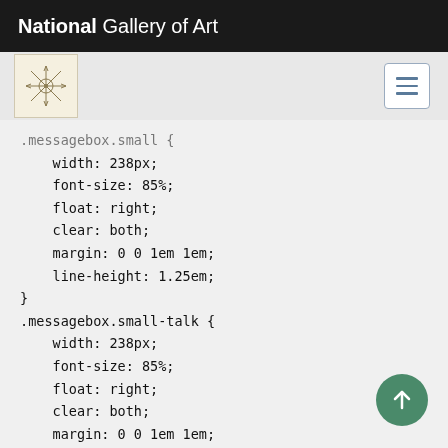National Gallery of Art
[Figure (logo): National Gallery of Art emblem/seal on grey sub-header bar with hamburger menu button]
.messagebox.small {
    width: 238px;
    font-size: 85%;
    float: right;
    clear: both;
    margin: 0 0 1em 1em;
    line-height: 1.25em;
}
.messagebox.small-talk {
    width: 238px;
    font-size: 85%;
    float: right;
    clear: both;
    margin: 0 0 1em 1em;
    line-height: 1.25em;
    background: #F8EABA;
}